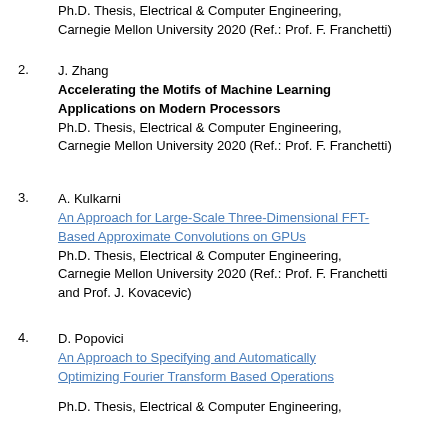Ph.D. Thesis, Electrical & Computer Engineering, Carnegie Mellon University 2020 (Ref.: Prof. F. Franchetti)
2. J. Zhang
Accelerating the Motifs of Machine Learning Applications on Modern Processors
Ph.D. Thesis, Electrical & Computer Engineering, Carnegie Mellon University 2020 (Ref.: Prof. F. Franchetti)
3. A. Kulkarni
An Approach for Large-Scale Three-Dimensional FFT-Based Approximate Convolutions on GPUs
Ph.D. Thesis, Electrical & Computer Engineering, Carnegie Mellon University 2020 (Ref.: Prof. F. Franchetti and Prof. J. Kovacevic)
4. D. Popovici
An Approach to Specifying and Automatically Optimizing Fourier Transform Based Operations
Ph.D. Thesis, Electrical & Computer Engineering, Carnegie Mellon University 2018 (Ref.: Prof. F. Franchetti)
5. F. Sadi
Accelerating Sparse Matrix Kernels with Co-optimized